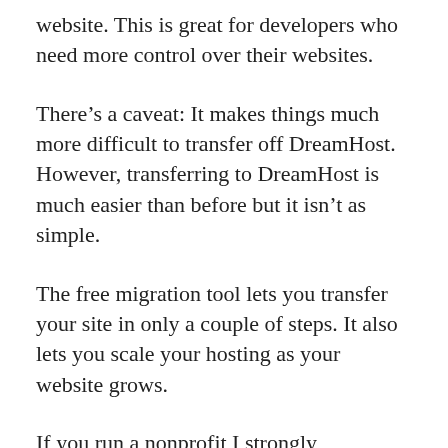website. This is great for developers who need more control over their websites.
There’s a caveat: It makes things much more difficult to transfer off DreamHost. However, transferring to DreamHost is much easier than before but it isn’t as simple.
The free migration tool lets you transfer your site in only a couple of steps. It also lets you scale your hosting as your website grows.
If you run a nonprofit I strongly recommend DreamHost. They offer one free Unlimited Shared Hosting plan for 501(c)(3) organisations. That’s a deal you cannot beat.